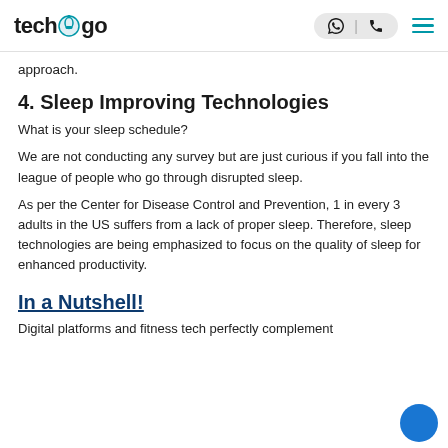techugo
approach.
4. Sleep Improving Technologies
What is your sleep schedule?
We are not conducting any survey but are just curious if you fall into the league of people who go through disrupted sleep.
As per the Center for Disease Control and Prevention, 1 in every 3 adults in the US suffers from a lack of proper sleep. Therefore, sleep technologies are being emphasized to focus on the quality of sleep for enhanced productivity.
In a Nutshell!
Digital platforms and fitness tech perfectly complement